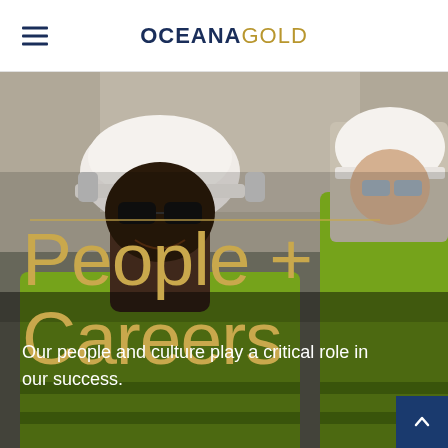OCEANA GOLD
[Figure (photo): Two mining workers wearing yellow high-visibility jackets, white hard hats, and safety equipment. The worker on the left is smiling and wearing dark sunglasses. The worker on the right is partially visible on the right edge. Industrial background.]
People + Careers
Our people and culture play a critical role in our success.